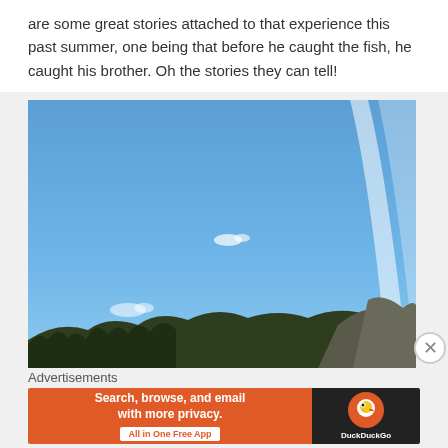are some great stories attached to that experience this past summer, one being that before he caught the fish, he caught his brother. Oh the stories they can tell!
[Figure (photo): Outdoor mountain landscape photo showing a clear blue sky with a bright light streak on the right side, some small clouds in the center, and mountain ridgeline with pine trees and rocky peaks at the bottom.]
Advertisements
[Figure (screenshot): DuckDuckGo advertisement banner: orange left side with text 'Search, browse, and email with more privacy. All in One Free App' and dark right side with DuckDuckGo duck logo.]